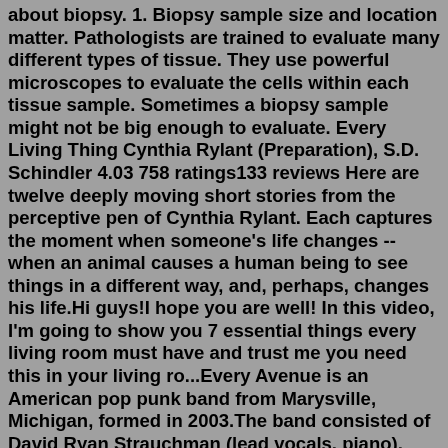about biopsy. 1. Biopsy sample size and location matter. Pathologists are trained to evaluate many different types of tissue. They use powerful microscopes to evaluate the cells within each tissue sample. Sometimes a biopsy sample might not be big enough to evaluate. Every Living Thing Cynthia Rylant (Preparation), S.D. Schindler 4.03 758 ratings133 reviews Here are twelve deeply moving short stories from the perceptive pen of Cynthia Rylant. Each captures the moment when someone's life changes -- when an animal causes a human being to see things in a different way, and, perhaps, changes his life.Hi guys!I hope you are well! In this video, I'm going to show you 7 essential things every living room must have and trust me you need this in your living ro...Every Avenue is an American pop punk band from Marysville, Michigan, formed in 2003.The band consisted of David Ryan Strauchman (lead vocals, piano), Joshua Randall Withenshaw (lead guitar), Jimmie Deeghan (rhythm guitar, backing vocals), Matt Black (bass, backing vocals) and Dennis Wilson